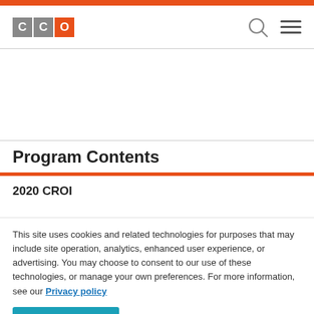CCO logo with search and menu icons
Program Contents
2020 CROI
This site uses cookies and related technologies for purposes that may include site operation, analytics, enhanced user experience, or advertising. You may choose to consent to our use of these technologies, or manage your own preferences. For more information, see our Privacy policy
Accept
Manage Settings